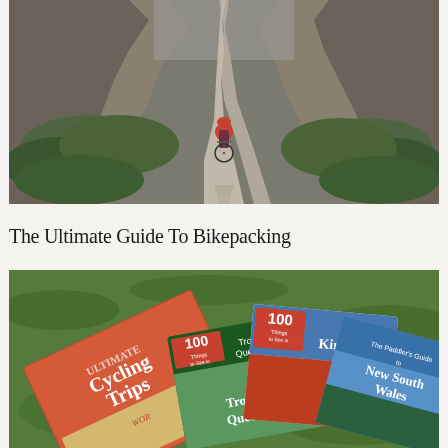[Figure (photo): A cyclist in a red helmet riding a loaded bike down a narrow dirt trail flanked by tall rocky cliff walls with green ferns on either side]
The Ultimate Guide To Bikepacking
[Figure (photo): Several travel and outdoor guide books spread out on grass, including 'Ultimate Cycling Trips', '100 Things Tropical Queensland', '100 Things The Kimberley', and 'The Paddler's Guide to New South Wales']